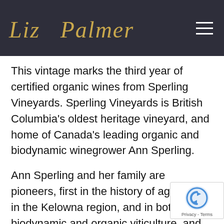Liz Palmer
This vintage marks the third year of certified organic wines from Sperling Vineyards. Sperling Vineyards is British Columbia's oldest heritage vineyard, and home of Canada's leading organic and biodynamic winegrower Ann Sperling.
Ann Sperling and her family are pioneers, first in the history of agriculture in the Kelowna region, and in both biodynamic and organic viticulture, and winemaking practice. The proof of their success is in the long lineup of awards. Taste for yourself! wines are known to be wines of elegance, tex authenticity.